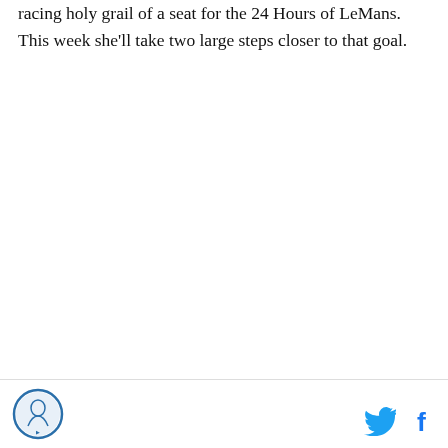racing holy grail of a seat for the 24 Hours of LeMans. This week she'll take two large steps closer to that goal.
[Figure (logo): Circular logo with blue border and figure/text inside, bottom left corner]
[Figure (other): Twitter bird icon (blue) and Facebook 'f' icon (blue), bottom right corner social sharing buttons]